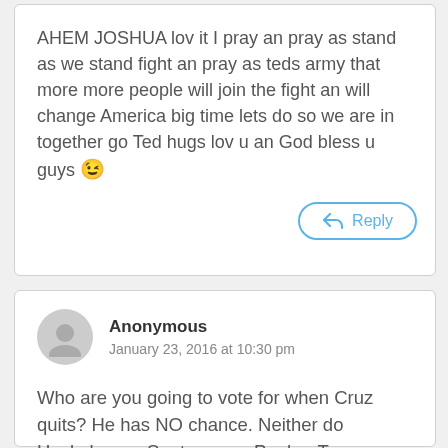AHEM JOSHUA lov it I pray an pray as stand as we stand fight an pray as teds army that more more people will join the fight an will change America big time lets do so we are in together go Ted hugs lov u an God bless u guys 😉
Reply
Anonymous
January 23, 2016 at 10:30 pm
Who are you going to vote for when Cruz quits? He has NO chance. Neither do Huckabee or Santorum or Paul or Trump